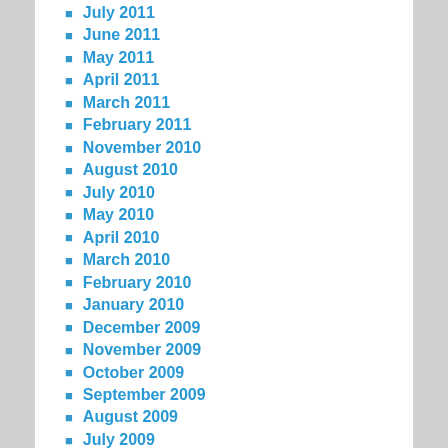July 2011
June 2011
May 2011
April 2011
March 2011
February 2011
November 2010
August 2010
July 2010
May 2010
April 2010
March 2010
February 2010
January 2010
December 2009
November 2009
October 2009
September 2009
August 2009
July 2009
June 2009
May 2009